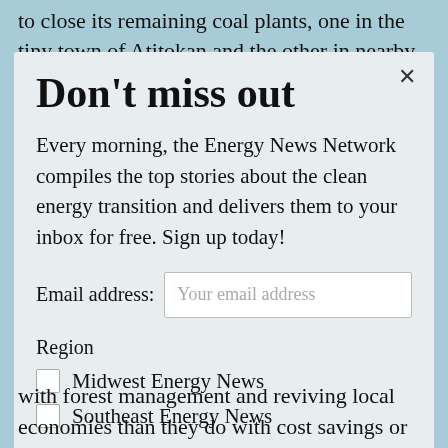to close its remaining coal plants, one in the tiny town of Atitokan and the other in nearby Thunder
Don't miss out
Every morning, the Energy News Network compiles the top stories about the clean energy transition and delivers them to your inbox for free. Sign up today!
Email address: Your email address
Region
Midwest Energy News
Southeast Energy News
with forest management and reviving local economies than they do with cost savings or